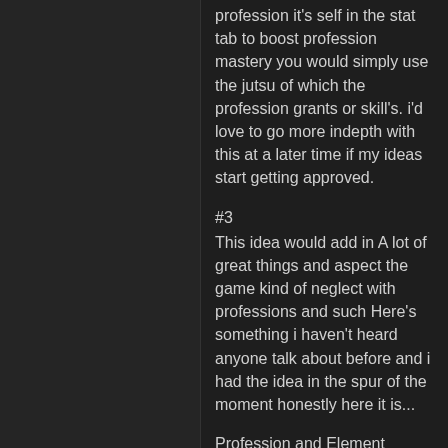profession it's self in the stat tab to boost profession mastery you would simply use the jutsu of which the profession grants or skill's. i'd love to go more indepth with this at a later time if my ideas start getting approved.
#3
This idea would add in A lot of great things and aspect the game kind of neglect with professions and such Here's something i haven't heard anyone talk about before and i had the idea in the spur of the moment honestly here it is...
Profession and Element